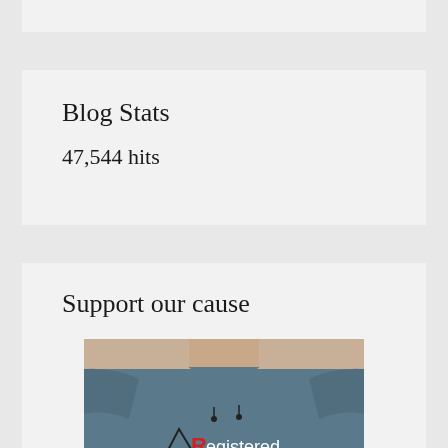Blog Stats
47,544 hits
Support our cause
[Figure (photo): Person wearing a blue-grey t-shirt with 'Registered' logo/text on it, showing body from neck down]